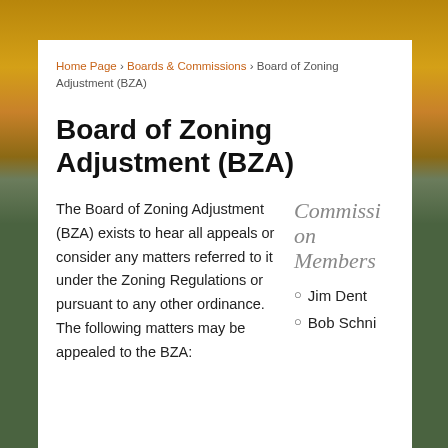Home Page › Boards & Commissions › Board of Zoning Adjustment (BZA)
Board of Zoning Adjustment (BZA)
The Board of Zoning Adjustment (BZA) exists to hear all appeals or consider any matters referred to it under the Zoning Regulations or pursuant to any other ordinance. The following matters may be appealed to the BZA:
Commission Members
Jim Dent
Bob Schni